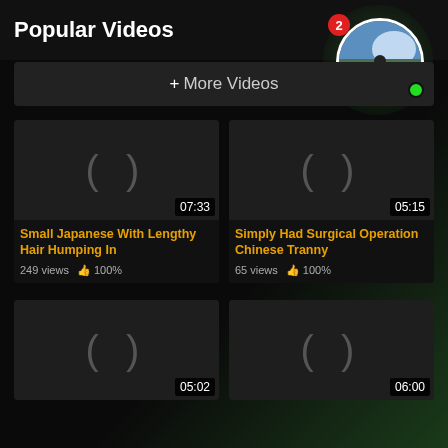Popular Videos
[Figure (photo): User avatar photo showing person on mountain/nature scene with circular frame, notification badge showing 2, and green online indicator dot]
+ More Videos
[Figure (screenshot): Video thumbnail placeholder with duration 07:33]
Small Japanese With Lengthy Hair Humping In
249 views  👍 100%
[Figure (screenshot): Video thumbnail placeholder with duration 05:15]
Simply Had Surgical Operation Chinese Tranny
65 views  👍 100%
[Figure (screenshot): Video thumbnail placeholder with duration 05:02]
[Figure (screenshot): Video thumbnail placeholder with duration 06:00]